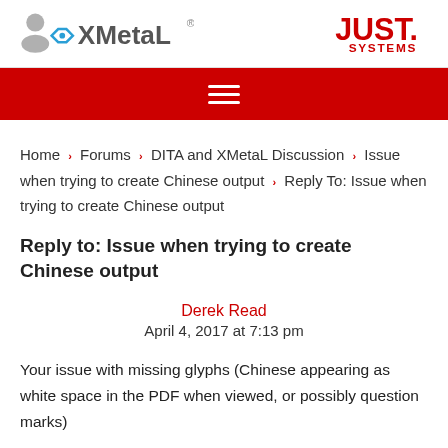XMetaL | JUST. SYSTEMS
Home › Forums › DITA and XMetaL Discussion › Issue when trying to create Chinese output › Reply To: Issue when trying to create Chinese output
Reply to: Issue when trying to create Chinese output
Derek Read
April 4, 2017 at 7:13 pm
Your issue with missing glyphs (Chinese appearing as white space in the PDF when viewed, or possibly question marks)